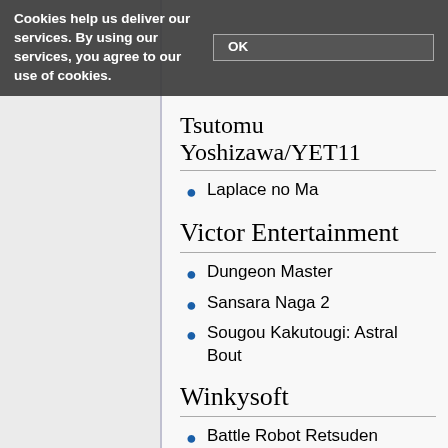Cookies help us deliver our services. By using our services, you agree to our use of cookies. OK
Tsutomu Yoshizawa/YET11
Laplace no Ma
Victor Entertainment
Dungeon Master
Sansara Naga 2
Sougou Kakutougi: Astral Bout
Winkysoft
Battle Robot Retsuden
Choujikuu Yousai Macross: Scrambled Valkyrie
Dai-3-ji Super Robot Taisen
Dai-4-ji Super Robot Taisen
Ghost Chaser Densei
Hero Senki: Project Olympus